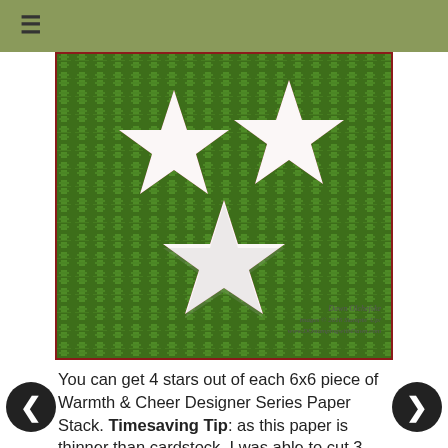☰
[Figure (photo): Green patterned paper (Warmth & Cheer Designer Series Paper Stack) with three white star cutouts arranged in a triangular pattern. Watermark text reads: Dawn Olchefske, images © 2016 Stampin' Up!, www.DOstampingwithDawn.com]
You can get 4 stars out of each 6x6 piece of Warmth & Cheer Designer Series Paper Stack. Timesaving Tip: as this paper is thinner than cardstock, I was able to cut 3 sheets at a time